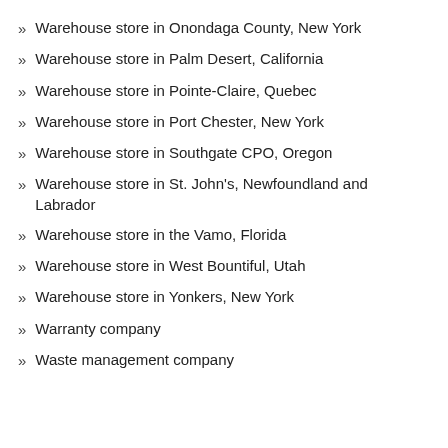Warehouse store in Onondaga County, New York
Warehouse store in Palm Desert, California
Warehouse store in Pointe-Claire, Quebec
Warehouse store in Port Chester, New York
Warehouse store in Southgate CPO, Oregon
Warehouse store in St. John's, Newfoundland and Labrador
Warehouse store in the Vamo, Florida
Warehouse store in West Bountiful, Utah
Warehouse store in Yonkers, New York
Warranty company
Waste management company